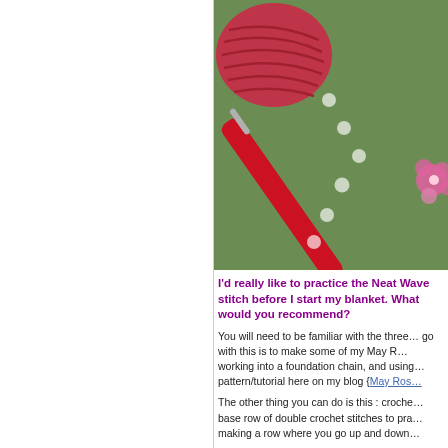[Figure (photo): A red polka-dot crochet hook resting on a green surface next to a ball of pink/red yarn and a small pink crocheted flower in the corner.]
I'd really like to practice the Neat Wave stitch before I start my blanket. What would you recommend?
You will need to be familiar with the three… go with this is to make some of my May R… working into a foundation chain, and using… pattern/tutorial here on my blog {May Ros…
The other thing you can do is this : croche… base row of double crochet stitches to pra… making a row where you go up and down…